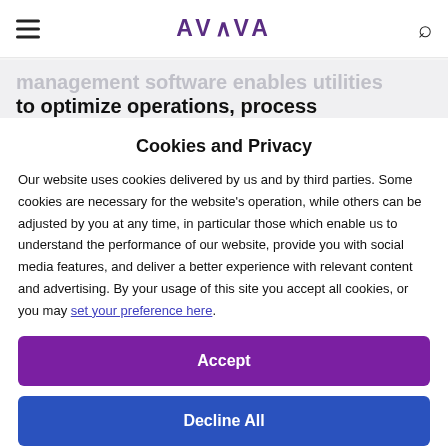AVEVA
management software enables utilities to optimize operations, process
Cookies and Privacy
Our website uses cookies delivered by us and by third parties. Some cookies are necessary for the website’s operation, while others can be adjusted by you at any time, in particular those which enable us to understand the performance of our website, provide you with social media features, and deliver a better experience with relevant content and advertising. By your usage of this site you accept all cookies, or you may set your preference here.
Accept
Decline All
Privacy Policy
Cookie Policy